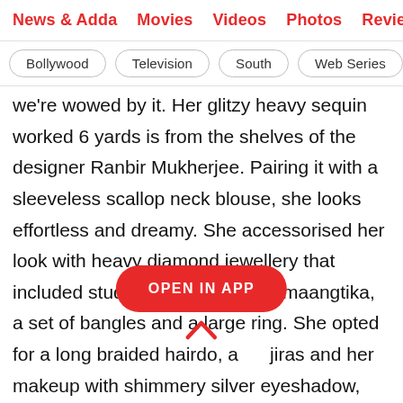News & Adda   Movies   Videos   Photos   Reviews   Bo…
Bollywood   Television   South   Web Series   Inte…
we're wowed by it. Her glitzy heavy sequin worked 6 yards is from the shelves of the designer Ranbir Mukherjee. Pairing it with a sleeveless scallop neck blouse, she looks effortless and dreamy. She accessorised her look with heavy diamond jewellery that included studded drop earrings, maangtika, a set of bangles and a large ring. She opted for a long braided hairdo, a… jiras and her makeup with shimmery silver eyeshadow, arched brows, glowy base and glossed lips made her look like a glow goddess. She is seen dancing on the
[Figure (other): OPEN IN APP button overlay with upward chevron arrow below]